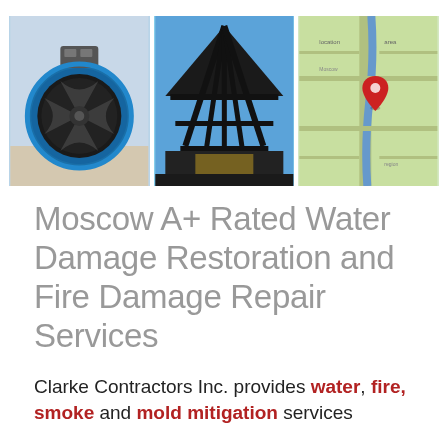[Figure (photo): Three photos side by side: left - a blue industrial fan/air mover on a floor; center - fire-damaged building structure with charred beams; right - a Google Maps screenshot showing a location pin.]
Moscow A+ Rated Water Damage Restoration and Fire Damage Repair Services
Clarke Contractors Inc. provides water, fire, smoke and mold mitigation services